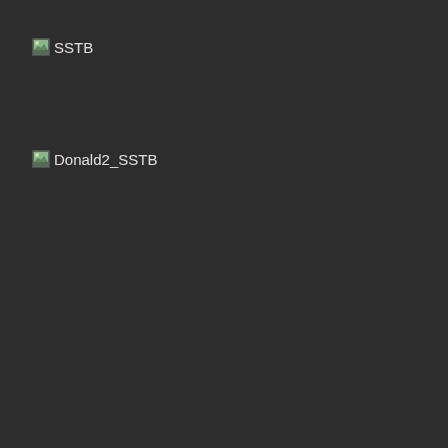[Figure (screenshot): Broken image icon followed by text label 'SSTB']
[Figure (screenshot): Broken image icon followed by text label 'Donald2_SSTB']